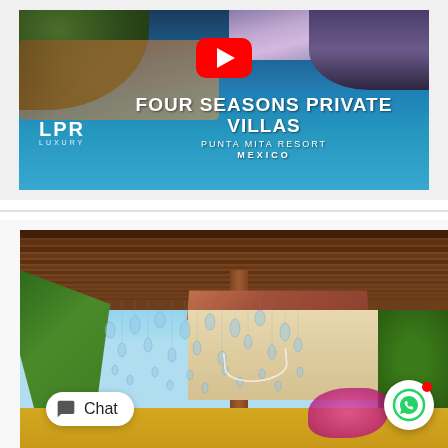[Figure (screenshot): YouTube video thumbnail for LPR Luxury showing Four Seasons Private Villas at Punta Mita Resort, Mexico. Shows a luxury pool villa with ocean view, YouTube play button overlay. Text: 'LPR LUXURY', 'FOUR SEASONS PRIVATE VILLAS', 'PUNTA MITA RESORT', 'MEXICO'.]
[Figure (photo): Luxury villa photo showing a pergola/palapa structure with hanging glass teardrop decorations, tropical palm foliage, a hammock, yellow wall, pink bougainvillea flowers, and blue sky. WhatsApp button and Chat button visible in bottom corners.]